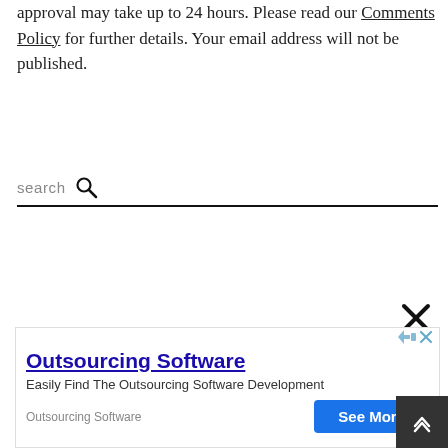approval may take up to 24 hours. Please read our Comments Policy for further details. Your email address will not be published.
search
[Figure (other): Advertisement banner: Outsourcing Software - Easily Find The Outsourcing Software Development, with See More button]